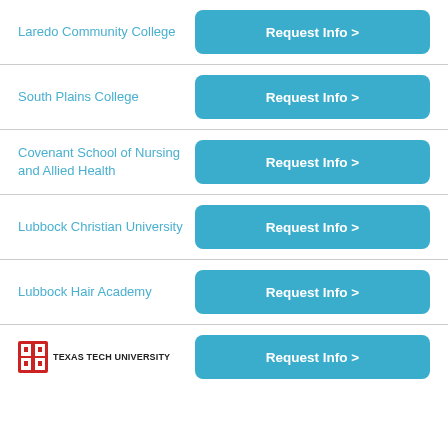Laredo Community College — Request Info >
South Plains College — Request Info >
Covenant School of Nursing and Allied Health — Request Info >
Lubbock Christian University — Request Info >
Lubbock Hair Academy — Request Info >
Texas Tech University — Request Info >